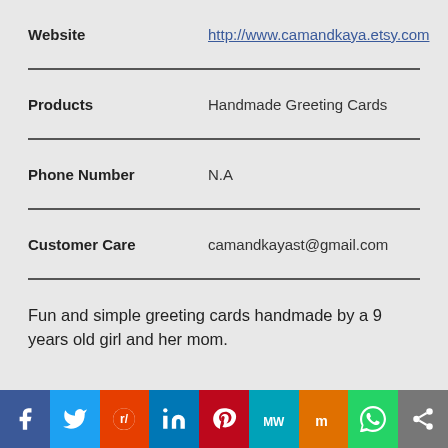| Field | Value |
| --- | --- |
| Website | http://www.camandkaya.etsy.com |
| Products | Handmade Greeting Cards |
| Phone Number | N.A |
| Customer Care | camandkayast@gmail.com |
Fun and simple greeting cards handmade by a 9 years old girl and her mom.